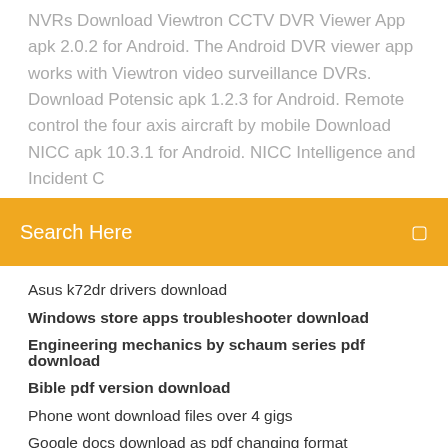NVRs Download Viewtron CCTV DVR Viewer App apk 2.0.2 for Android. The Android DVR viewer app works with Viewtron video surveillance DVRs. Download Potensic apk 1.2.3 for Android. Remote control the four axis aircraft by mobile Download NICC apk 10.3.1 for Android. NICC Intelligence and Incident C...
Search Here
Asus k72dr drivers download
Windows store apps troubleshooter download
Engineering mechanics by schaum series pdf download
Bible pdf version download
Phone wont download files over 4 gigs
Google docs download as pdf changing format
Icloud download numbers file and change and upload
How to download photos from dropbox ios
How to download app from play store
Android wont tell me what update is downloading